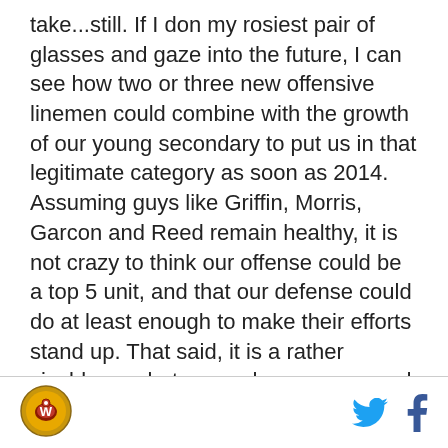take...still. If I don my rosiest pair of glasses and gaze into the future, I can see how two or three new offensive linemen could combine with the growth of our young secondary to put us in that legitimate category as soon as 2014. Assuming guys like Griffin, Morris, Garcon and Reed remain healthy, it is not crazy to think our offense could be a top 5 unit, and that our defense could do at least enough to make their efforts stand up. That said, it is a rather sizable gap between where we are and where the truly elite teams in this league are right now. You can always make the argument, "If everything breaks our way, we'll be much, much better." Unfortunately, we can't--and shouldn't--count on that. There are enough young, talented
[logo] [twitter] [facebook]